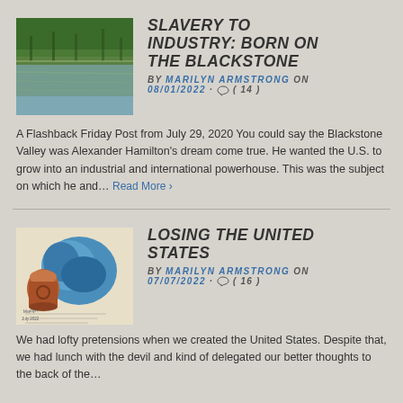[Figure (photo): Photograph of a calm river or pond reflecting trees and green foliage on the banks]
SLAVERY TO INDUSTRY: BORN ON THE BLACKSTONE
BY MARILYN ARMSTRONG on 08/01/2022 · ( 14 )
A Flashback Friday Post from July 29, 2020 You could say the Blackstone Valley was Alexander Hamilton's dream come true. He wanted the U.S. to grow into an industrial and international powerhouse. This was the subject on which he and... Read More ›
[Figure (photo): Colorful painted artwork showing blue and orange shapes, appears to be a sketchbook with handwritten notes]
LOSING THE UNITED STATES
BY MARILYN ARMSTRONG on 07/07/2022 · ( 16 )
We had lofty pretensions when we created the United States. Despite that, we had lunch with the devil and kind of delegated our better thoughts to the back of the...